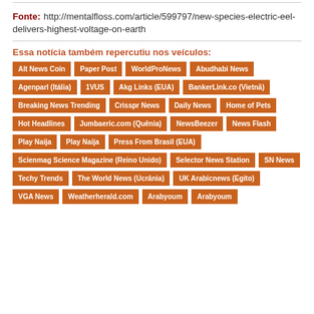Fonte: http://mentalfloss.com/article/599797/new-species-electric-eel-delivers-highest-voltage-on-earth
Essa notícia também repercutiu nos veículos:
Alt News Coin
Paper Post
WorldProNews
Abudhabi News
Agenparl (Itália)
1VUS
Akg Links (EUA)
BankerLink.co (Vietnã)
Breaking News Trending
Crisspr News
Daily News
Home of Pets
Hot Headlines
Jumbaeric.com (Quênia)
NewsBeezer
News Flash
Play Naija
Play Naija
Press From Brasil (EUA)
Scienmag Science Magazine (Reino Unido)
Selector News Station
SN News
Techy Trends
The World News (Ucrânia)
UK Arabicnews (Egito)
VGA News
Weatherherald.com
Arabyoum
Arabyoum